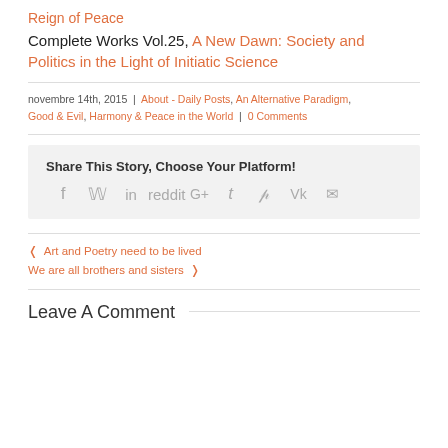Reign of Peace Complete Works Vol.25, A New Dawn: Society and Politics in the Light of Initiatic Science
novembre 14th, 2015 | About - Daily Posts, An Alternative Paradigm, Good & Evil, Harmony & Peace in the World | 0 Comments
[Figure (infographic): Share This Story, Choose Your Platform! social media icons: facebook, twitter, linkedin, reddit, google+, tumblr, pinterest, vk, email]
< Art and Poetry need to be lived
We are all brothers and sisters >
Leave A Comment